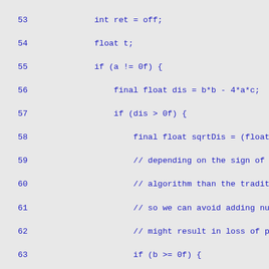Source code listing lines 53-82, Java/similar language implementing quadratic formula root finding with numeric stability algorithm.